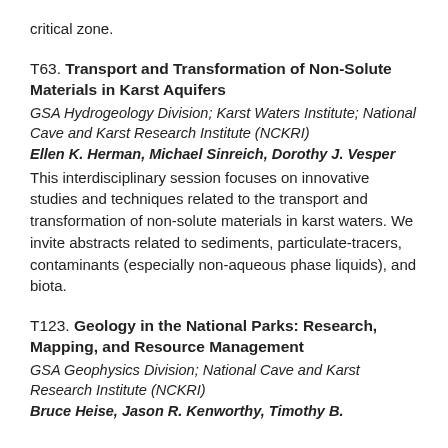critical zone.
T63. Transport and Transformation of Non-Solute Materials in Karst Aquifers
GSA Hydrogeology Division; Karst Waters Institute; National Cave and Karst Research Institute (NCKRI)
Ellen K. Herman, Michael Sinreich, Dorothy J. Vesper
This interdisciplinary session focuses on innovative studies and techniques related to the transport and transformation of non-solute materials in karst waters. We invite abstracts related to sediments, particulate-tracers, contaminants (especially non-aqueous phase liquids), and biota.
T123. Geology in the National Parks: Research, Mapping, and Resource Management
GSA Geophysics Division; National Cave and Karst Research Institute (NCKRI)
Bruce Heise, Jason R. Kenworthy, Timothy B.